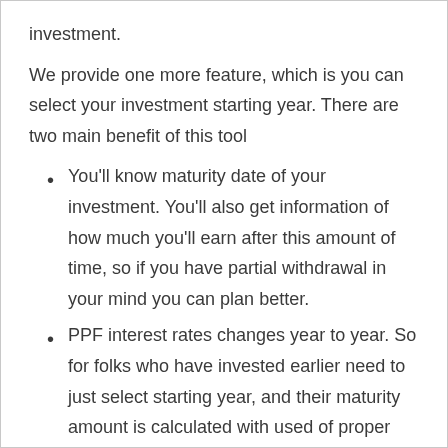investment.
We provide one more feature, which is you can select your investment starting year. There are two main benefit of this tool
You'll know maturity date of your investment. You'll also get information of how much you'll earn after this amount of time, so if you have partial withdrawal in your mind you can plan better.
PPF interest rates changes year to year. So for folks who have invested earlier need to just select starting year, and their maturity amount is calculated with used of proper interest rate.